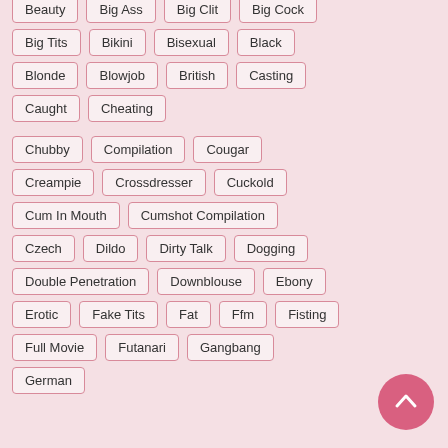Beauty
Big Ass
Big Clit
Big Cock
Big Tits
Bikini
Bisexual
Black
Blonde
Blowjob
British
Casting
Caught
Cheating
Chubby
Compilation
Cougar
Creampie
Crossdresser
Cuckold
Cum In Mouth
Cumshot Compilation
Czech
Dildo
Dirty Talk
Dogging
Double Penetration
Downblouse
Ebony
Erotic
Fake Tits
Fat
Ffm
Fisting
Full Movie
Futanari
Gangbang
German